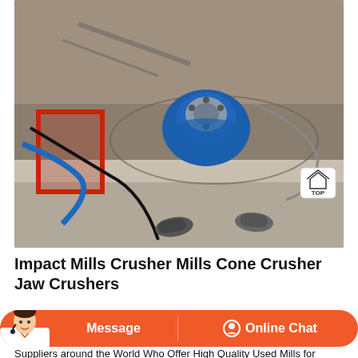[Figure (photo): Overhead view of an industrial crusher mill machine (blue motor visible) on a dusty floor, with a person's feet visible at the bottom of the frame. Red framed structure to the left. A 'TOP' badge overlay in the bottom-right corner of the image.]
Impact Mills Crusher Mills Cone Crusher Jaw Crushers
[Figure (infographic): Orange rounded chat bar with a customer service avatar on the left, a 'Message' button in the center-left, and an 'Online Chat' button with a headset icon on the right.]
Suppliers around the World Who Offer High Quality Used Mills for